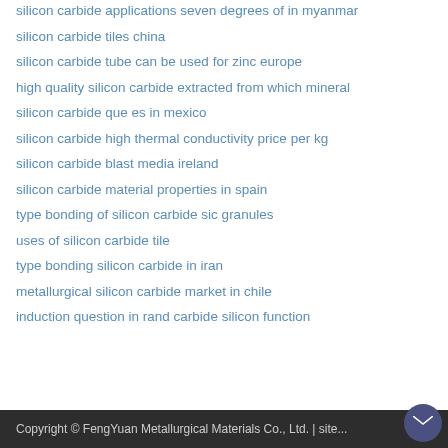silicon carbide applications seven degrees of in myanmar
silicon carbide tiles china
silicon carbide tube can be used for zinc europe
high quality silicon carbide extracted from which mineral
silicon carbide que es in mexico
silicon carbide high thermal conductivity price per kg
silicon carbide blast media ireland
silicon carbide material properties in spain
type bonding of silicon carbide sic granules
uses of silicon carbide tile
type bonding silicon carbide in iran
metallurgical silicon carbide market in chile
induction question in rand carbide silicon function
Copyright © FengYuan Metallurgical Materials Co., Ltd. | site...